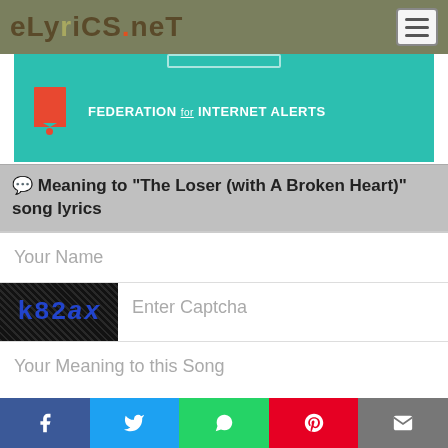eLyrics.net
[Figure (screenshot): Advertisement banner for Federation for Internet Alerts, teal/green background with orange flag icon and white text.]
💬 Meaning to "The Loser (with A Broken Heart)" song lyrics
Your Name
[Figure (screenshot): CAPTCHA image showing 'k82ax' in blue letters on dark noisy background.]
Enter Captcha
Your Meaning to this Song
Social share bar: Facebook, Twitter, WhatsApp, Pinterest, Email